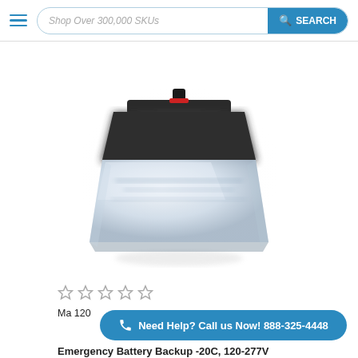Shop Over 300,000 SKUs | SEARCH
[Figure (photo): Product photo of an emergency lighting fixture with dark housing and clear glass lens, square shape, viewed from slight angle above.]
★ ★ ★ ★ ★
Ma... 120...
Need Help? Call us Now! 888-325-4448
Emergency Battery Backup -20C, 120-277V